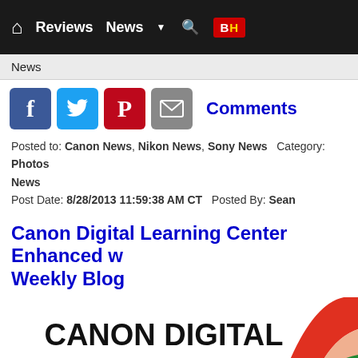Home | Reviews | News | Search | B&H
News
[Figure (screenshot): Social sharing icons: Facebook, Twitter, Pinterest, Email, and Comments link]
Posted to: Canon News, Nikon News, Sony News  Category: Photos News
Post Date: 8/28/2013 11:59:38 AM CT  Posted By: Sean
Canon Digital Learning Center Enhanced w... Weekly Blog
[Figure (logo): Canon Digital Learning Center logo with colorful arc graphic on the right]